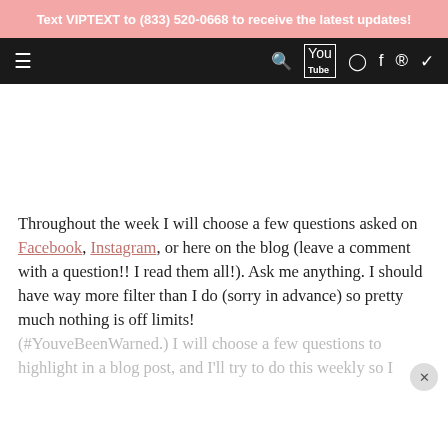Text VIPTEXT to (833) 520-0668 to receive the latest updates!
Navigation bar with hamburger menu and social icons
[Figure (other): Advertisement/blank space area]
Throughout the week I will choose a few questions asked on Facebook, Instagram, or here on the blog (leave a comment with a question!! I read them all!). Ask me anything. I should have way more filter than I do (sorry in advance) so pretty much nothing is off limits! (#YouveBeenWarned.) I will choose a few questions to highlight in a blog post, and I'll try to do this weekly so I